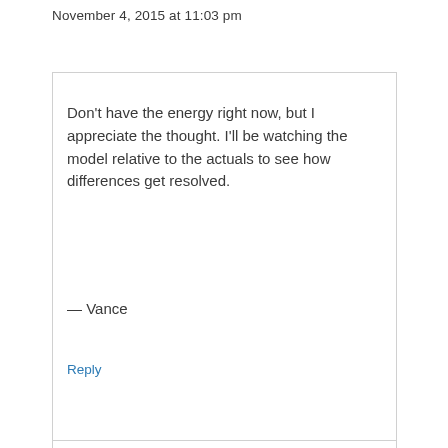November 4, 2015 at 11:03 pm
Don’t have the energy right now, but I appreciate the thought. I’ll be watching the model relative to the actuals to see how differences get resolved.
— Vance
Reply
Temil Marmon
February 10, 2017 at 12:33 pm
I was very curious about that and your